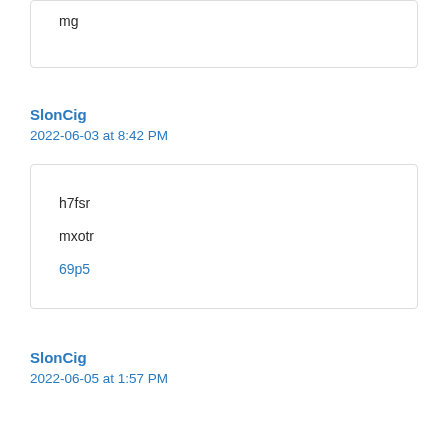mg
SlonCig
2022-06-03 at 8:42 PM
h7fsr
mxotr
69p5
SlonCig
2022-06-05 at 1:57 PM